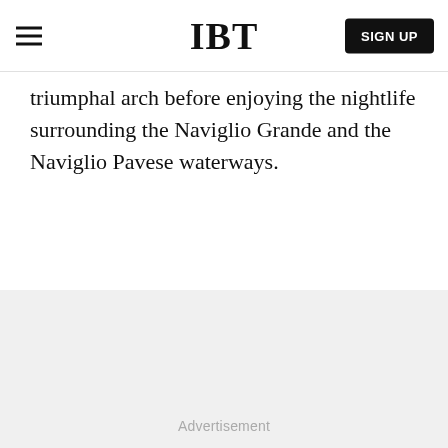IBT
triumphal arch before enjoying the nightlife surrounding the Naviglio Grande and the Naviglio Pavese waterways.
[Figure (other): Advertisement placeholder area with light gray background and 'Advertisement' label text centered near bottom.]